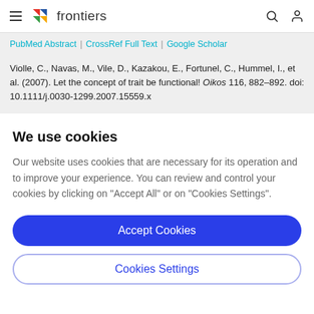frontiers
PubMed Abstract | CrossRef Full Text | Google Scholar
Violle, C., Navas, M., Vile, D., Kazakou, E., Fortunel, C., Hummel, I., et al. (2007). Let the concept of trait be functional! Oikos 116, 882–892. doi: 10.1111/j.0030-1299.2007.15559.x
We use cookies
Our website uses cookies that are necessary for its operation and to improve your experience. You can review and control your cookies by clicking on "Accept All" or on "Cookies Settings".
Accept Cookies
Cookies Settings